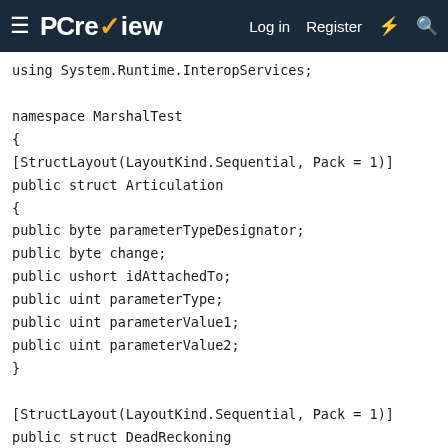PCreview — Log in | Register
using System.Runtime.InteropServices;

namespace MarshalTest
{
[StructLayout(LayoutKind.Sequential, Pack = 1)]
public struct Articulation
{
public byte parameterTypeDesignator;
public byte change;
public ushort idAttachedTo;
public uint parameterType;
public uint parameterValue1;
public uint parameterValue2;
}

[StructLayout(LayoutKind.Sequential, Pack = 1)]
public struct DeadReckoning
{
public byte header;
[MarshalAs(UnmanagedType.ByValArray, SizeConst = 15)]